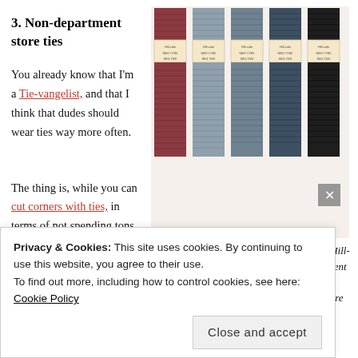3. Non-department store ties
You already know that I'm a Tie-vangelist, and that I think that dudes should wear ties way more often.
[Figure (photo): Five neckties in a row showing different colors — burgundy/red, light grey-blue, medium blue-grey, dark blue, and near-black — each with a paper label band in the middle.]
“Small-batch” ties like those made by The Hill-side are much more expensive than department store ties. And guess why? They’re made of excellent fabric, and excellent die, and they’re gorgeous
The thing is, while you can cut corners with ties, in terms of not spending tons of
Privacy & Cookies: This site uses cookies. By continuing to use this website, you agree to their use.
To find out more, including how to control cookies, see here: Cookie Policy
Close and accept